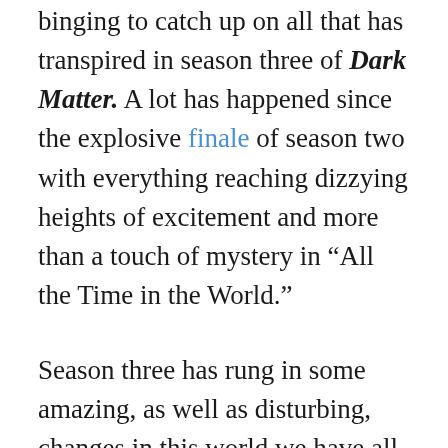binging to catch up on all that has transpired in season three of Dark Matter. A lot has happened since the explosive finale of season two with everything reaching dizzying heights of excitement and more than a touch of mystery in “All the Time in the World.”
Season three has rung in some amazing, as well as disturbing, changes in this world we have all grown to love. There have been losses. Nyx is dead and Six, aka Kal Varrik, has left the Raza to stay and guide a revolution. Two new crew members are on board – and Shockley’s interaction with